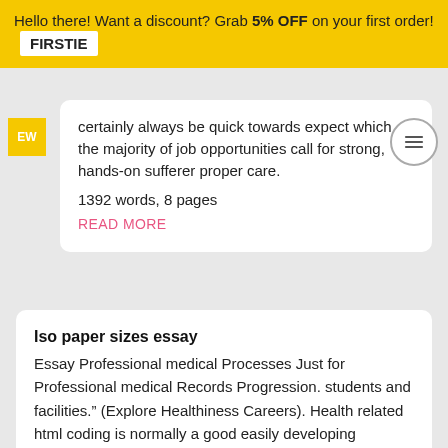Hello there! Want a discount? Grab 5% OFF on your first order! FIRSTIE
certainly always be quick towards expect which the majority of job opportunities call for strong, hands-on sufferer proper care.
1392 words, 8 pages
READ MORE
Iso paper sizes essay
Essay Professional medical Processes Just for Professional medical Records Progression. students and facilities.” (Explore Healthiness Careers). Health related html coding is normally a good easily developing discipline and additionally possibly not some sort of good deal of families be aware of the correct way most certainly the item is certainly